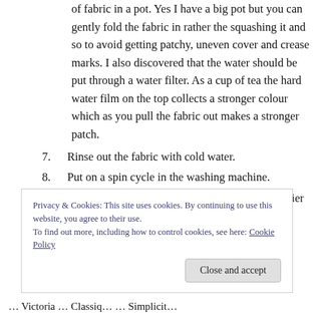of fabric in a pot. Yes I have a big pot but you can gently fold the fabric in rather the squashing it and so to avoid getting patchy, uneven cover and crease marks. I also discovered that the water should be put through a water filter. As a cup of tea the hard water film on the top collects a stronger colour which as you pull the fabric out makes a stronger patch.
7. Rinse out the fabric with cold water.
8. Put on a spin cycle in the washing machine.
9. Iron all pieces to dry, believe me its so much easier to iron when damp.
Privacy & Cookies: This site uses cookies. By continuing to use this website, you agree to their use. To find out more, including how to control cookies, see here: Cookie Policy
… Victoria … Simplicit…